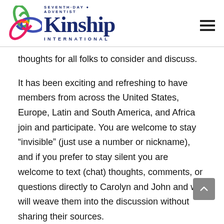Seventh-Day Adventist Kinship International
thoughts for all folks to consider and discuss.
It has been exciting and refreshing to have members from across the United States, Europe, Latin and South America, and Africa join and participate. You are welcome to stay “invisible” (just use a number or nickname), and if you prefer to stay silent you are welcome to text (chat) thoughts, comments, or questions directly to Carolyn and John and we will weave them into the discussion without sharing their sources.
We look forward to connecting with all...